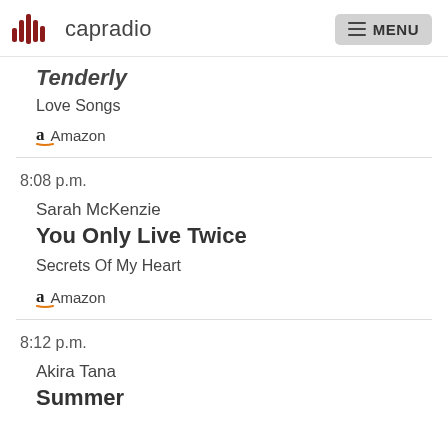capradio MENU
Tenderly
Love Songs
Amazon
8:08 p.m.
Sarah McKenzie
You Only Live Twice
Secrets Of My Heart
Amazon
8:12 p.m.
Akira Tana
Summer